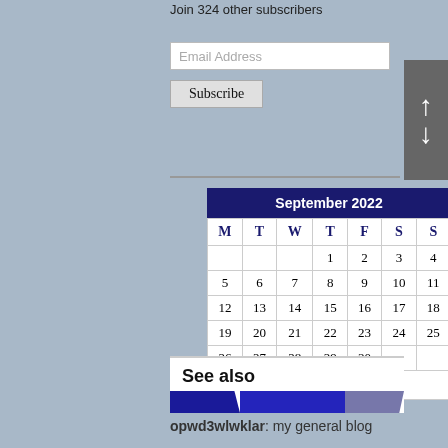Join 324 other subscribers
Email Address
Subscribe
| M | T | W | T | F | S | S |
| --- | --- | --- | --- | --- | --- | --- |
|  |  |  | 1 | 2 | 3 | 4 |
| 5 | 6 | 7 | 8 | 9 | 10 | 11 |
| 12 | 13 | 14 | 15 | 16 | 17 | 18 |
| 19 | 20 | 21 | 22 | 23 | 24 | 25 |
| 26 | 27 | 28 | 29 | 30 |  |  |
« Nov
See also
opwd3wlwklar: my general blog